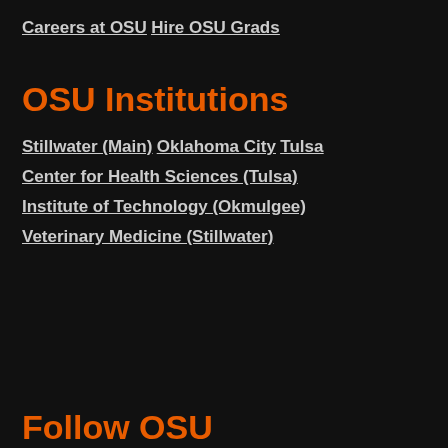Careers at OSU
Hire OSU Grads
OSU Institutions
Stillwater (Main)
Oklahoma City
Tulsa
Center for Health Sciences (Tulsa)
Institute of Technology (Okmulgee)
Veterinary Medicine (Stillwater)
Follow OSU